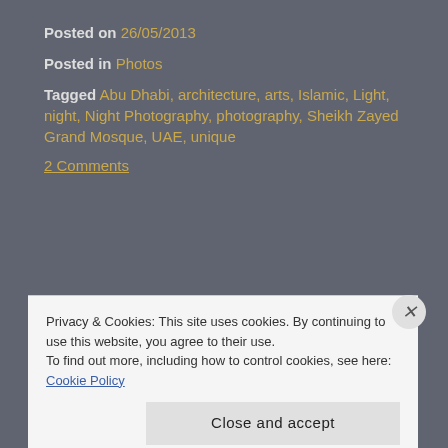Posted on 26/05/2013
Posted in Photos
Tagged Abu Dhabi, architecture, arts, Islamic, Light, night, Night Photography, photography, Sheikh Zayed Grand Mosque, UAE, unique
2 Comments
[Figure (photo): Night photograph of Sheikh Zayed Grand Mosque minarets lit with teal/blue light against a dark sky]
Privacy & Cookies: This site uses cookies. By continuing to use this website, you agree to their use.
To find out more, including how to control cookies, see here: Cookie Policy
Close and accept